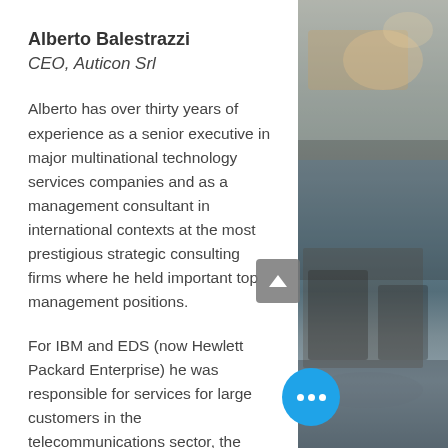Alberto Balestrazzi
CEO, Auticon Srl
Alberto has over thirty years of experience as a senior executive in major multinational technology services companies and as a management consultant in international contexts at the most prestigious strategic consulting firms where he held important top management positions.
For IBM and EDS (now Hewlett Packard Enterprise) he was responsible for services for large customers in the telecommunications sector, the definition of market strategies, innovation programs and the development of solutions for large multinational customers.
[Figure (photo): Background photo of a conference room with people seated, dimly lit with warm lighting.]